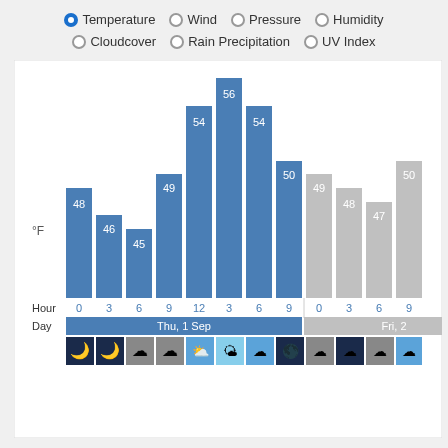[Figure (bar-chart): Temperature]